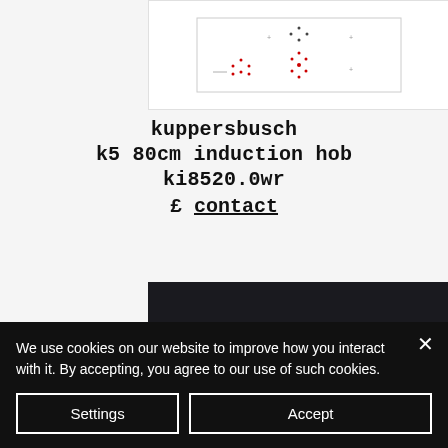[Figure (illustration): Product image of Kuppersbusch k5 80cm induction hob showing schematic top-down view with burner zones marked as dots/crosses pattern on white background]
kuppersbusch
k5 80cm induction hob
ki8520.0wr
£ contact
[Figure (other): Dark/black rectangle representing a product video embed area]
We use cookies on our website to improve how you interact with it. By accepting, you agree to our use of such cookies.
Settings
Accept